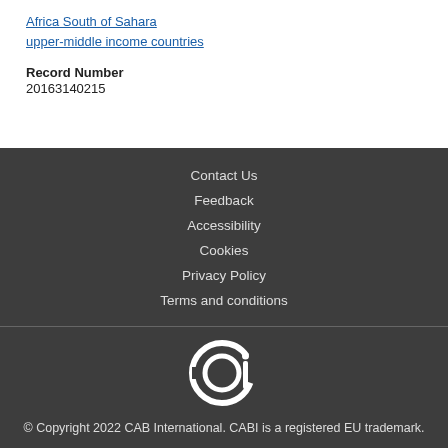Africa South of Sahara
upper-middle income countries
Record Number
20163140215
Contact Us
Feedback
Accessibility
Cookies
Privacy Policy
Terms and conditions
© Copyright 2022 CAB International. CABI is a registered EU trademark.